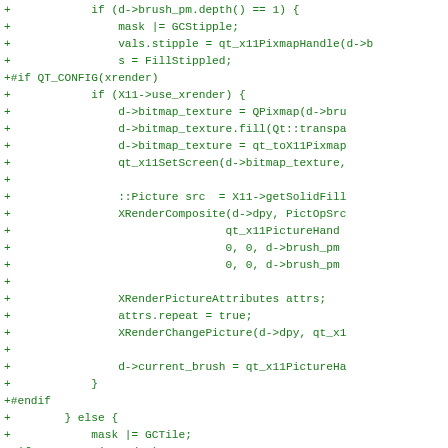[Figure (screenshot): Code diff snippet showing C++ source code additions (lines prefixed with +) related to brush/stipple/xrender handling in what appears to be Qt X11 platform code. All lines are shown in green text indicating additions in a diff view.]